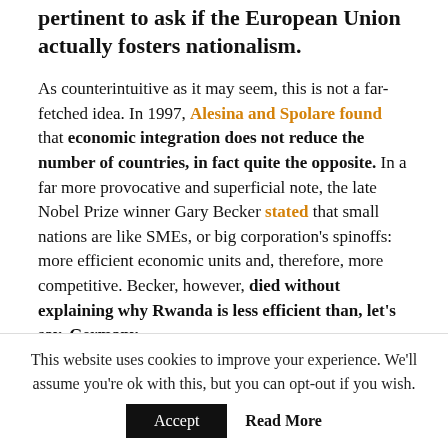pertinent to ask if the European Union actually fosters nationalism.
As counterintuitive as it may seem, this is not a far-fetched idea. In 1997, Alesina and Spolare found that economic integration does not reduce the number of countries, in fact quite the opposite. In a far more provocative and superficial note, the late Nobel Prize winner Gary Becker stated that small nations are like SMEs, or big corporation's spinoffs: more efficient economic units and, therefore, more competitive. Becker, however, died without explaining why Rwanda is less efficient than, let's say, Germany.
This website uses cookies to improve your experience. We'll assume you're ok with this, but you can opt-out if you wish.
Accept   Read More